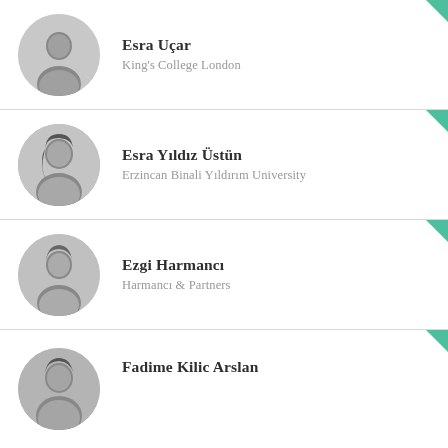[Figure (photo): Circular black and white portrait photo of Esra Uçar]
Esra Uçar
King's College London
[Figure (photo): Circular black and white portrait photo of Esra Yıldız Üstün]
Esra Yıldız Üstün
Erzincan Binali Yıldırım University
[Figure (photo): Circular black and white portrait photo of Ezgi Harmancı]
Ezgi Harmancı
Harmancı & Partners
[Figure (photo): Circular black and white portrait photo of Fadime Kilic Arslan]
Fadime Kilic Arslan